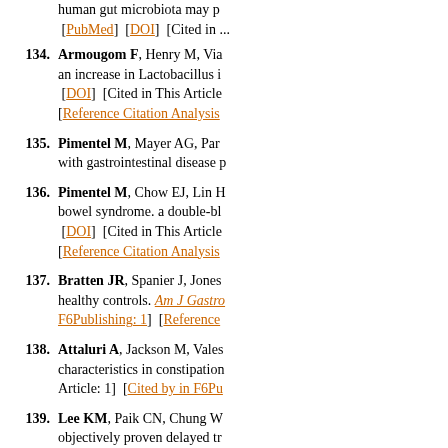human gut microbiota may p... [PubMed]  [DOI]  [Cited in ...
134. Armougom F, Henry M, Via... an increase in Lactobacillus i... [DOI]  [Cited in This Article... [Reference Citation Analysis...
135. Pimentel M, Mayer AG, Par... with gastrointestinal disease p...
136. Pimentel M, Chow EJ, Lin H... bowel syndrome. a double-bl... [DOI]  [Cited in This Article... [Reference Citation Analysis...
137. Bratten JR, Spanier J, Jones... healthy controls. Am J Gastro... F6Publishing: 1]  [Reference...
138. Attaluri A, Jackson M, Vales... characteristics in constipation... Article: 1]  [Cited by in F6Pu...
139. Lee KM, Paik CN, Chung W... objectively proven delayed tr... This Article: 1]  [Cited by in...